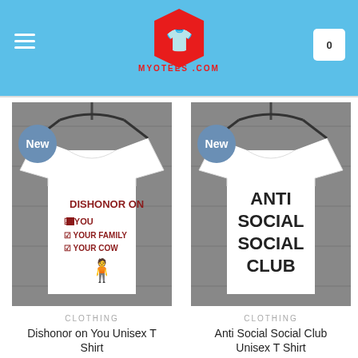MYOTEES.COM
[Figure (photo): White t-shirt hanging on hanger reading 'DISHONOR ON YOU YOUR FAMILY YOUR COW' with a cartoon character, labeled New]
CLOTHING
Dishonor on You Unisex T Shirt
[Figure (photo): White t-shirt hanging on hanger reading 'ANTI SOCIAL SOCIAL CLUB' in bold black text, labeled New]
CLOTHING
Anti Social Social Club Unisex T Shirt